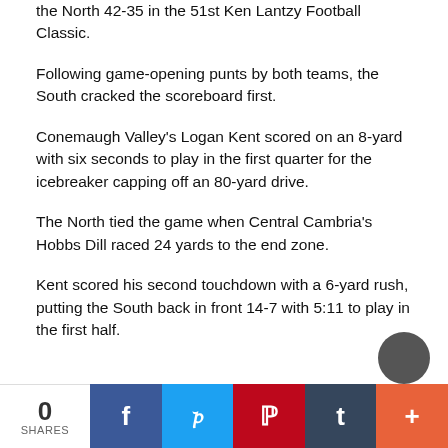the North 42-35 in the 51st Ken Lantzy Football Classic.
Following game-opening punts by both teams, the South cracked the scoreboard first.
Conemaugh Valley's Logan Kent scored on an 8-yard with six seconds to play in the first quarter for the icebreaker capping off an 80-yard drive.
The North tied the game when Central Cambria's Hobbs Dill raced 24 yards to the end zone.
Kent scored his second touchdown with a 6-yard rush, putting the South back in front 14-7 with 5:11 to play in the first half.
0 SHARES | Facebook | Twitter | Pinterest | Tumblr | More